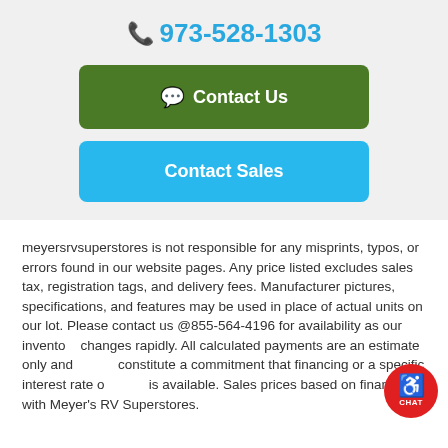973-528-1303
Contact Us
Contact Sales
meyersrvsuperstores is not responsible for any misprints, typos, or errors found in our website pages. Any price listed excludes sales tax, registration tags, and delivery fees. Manufacturer pictures, specifications, and features may be used in place of actual units on our lot. Please contact us @855-564-4196 for availability as our inventory changes rapidly. All calculated payments are an estimate only and do not constitute a commitment that financing or a specific interest rate of credit is available. Sales prices based on financing with Meyer's RV Superstores.